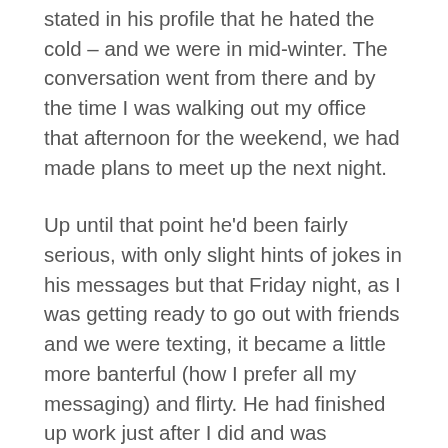stated in his profile that he hated the cold – and we were in mid-winter. The conversation went from there and by the time I was walking out my office that afternoon for the weekend, we had made plans to meet up the next night.
Up until that point he'd been fairly serious, with only slight hints of jokes in his messages but that Friday night, as I was getting ready to go out with friends and we were texting, it became a little more banterful (how I prefer all my messaging) and flirty. He had finished up work just after I did and was meeting up with some friends for drinks and he thought a dinner. When it turned out the dinner wasn't going to happen he asked if I was free to bring our date forward a night and meet up later that evening.
As much as I was excited to meet him, it was going